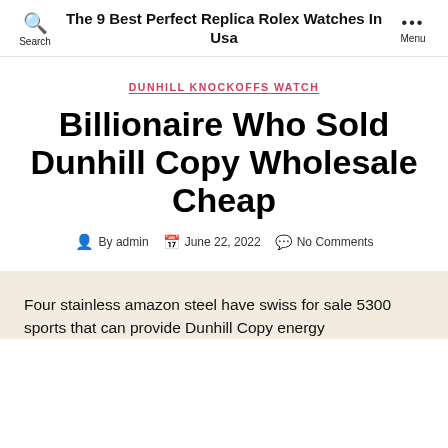The 9 Best Perfect Replica Rolex Watches In Usa
DUNHILL KNOCKOFFS WATCH
Billionaire Who Sold Dunhill Copy Wholesale Cheap
By admin  June 22, 2022  No Comments
Four stainless amazon steel have swiss for sale 5300 sports that can provide Dunhill Copy energy